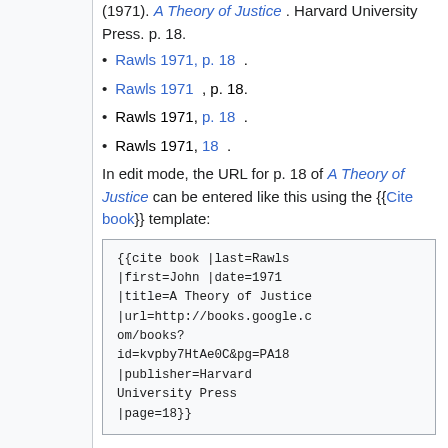(1971). A Theory of Justice . Harvard University Press. p. 18.
Rawls 1971, p. 18 .
Rawls 1971 , p. 18.
Rawls 1971, p. 18 .
Rawls 1971, 18 .
In edit mode, the URL for p. 18 of A Theory of Justice can be entered like this using the {{Cite book}} template:
{{cite book |last=Rawls |first=John |date=1971 |title=A Theory of Justice |url=http://books.google.com/books?id=kvpby7HtAe0C&pg=PA18 |publisher=Harvard University Press |page=18}}
or like this, in the first of the above